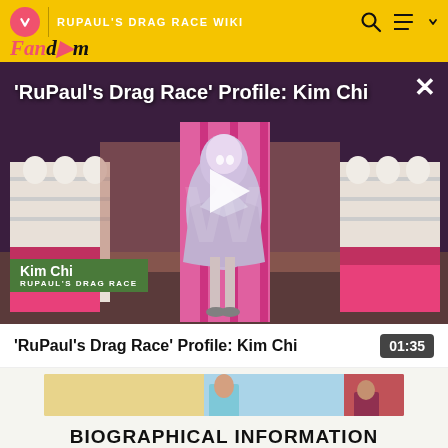RuPaul's Drag Race Wiki — Fandom
[Figure (screenshot): Video thumbnail showing Kim Chi on RuPaul's Drag Race wearing a lavender outfit in the werkroom. Title overlay reads 'RuPaul's Drag Race' Profile: Kim Chi with a play button in the center and a name badge showing 'Kim Chi / RUPAUL'S DRAG RACE' in the lower left.]
'RuPaul's Drag Race' Profile: Kim Chi
[Figure (photo): Partial ad banner image showing a person in blue and red clothing]
BIOGRAPHICAL INFORMATION